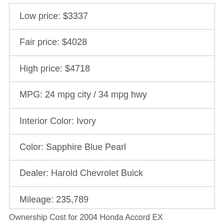| Low price: $3337 |
| Fair price: $4028 |
| High price: $4718 |
| MPG: 24 mpg city / 34 mpg hwy |
| Interior Color: Ivory |
| Color: Sapphire Blue Pearl |
| Dealer: Harold Chevrolet Buick |
| Mileage: 235,789 |
| Year: 2004 |
Ownership Cost for 2004 Honda Accord EX